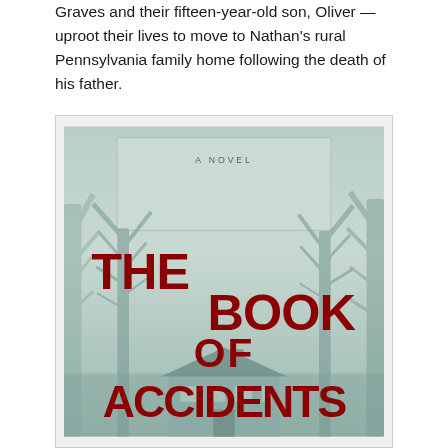Graves and their fifteen-year-old son, Oliver — uproot their lives to move to Nathan's rural Pennsylvania family home following the death of his father.
[Figure (illustration): Book cover of 'The Book of Accidents' — A Novel. Dark, eerie cover with bare winter trees, a misty teal/grey background, a house at the bottom, and bold red uppercase text reading 'THE BOOK OF ACCIDENTS'. 'A NOVEL' appears in small caps near the top center.]